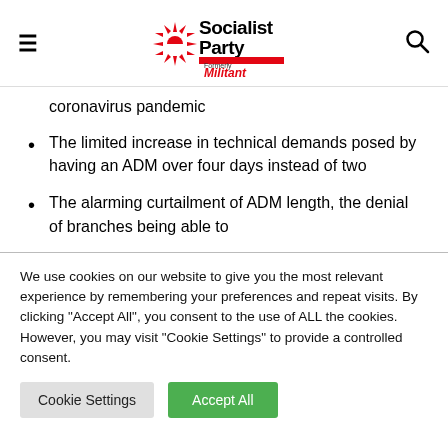Socialist Party (formerly Militant) — navigation header with hamburger menu and search icon
coronavirus pandemic
The limited increase in technical demands posed by having an ADM over four days instead of two
The alarming curtailment of ADM length, the denial of branches being able to
We use cookies on our website to give you the most relevant experience by remembering your preferences and repeat visits. By clicking "Accept All", you consent to the use of ALL the cookies. However, you may visit "Cookie Settings" to provide a controlled consent.